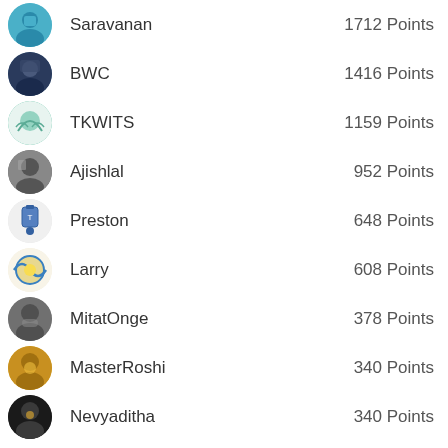Saravanan — 1712 Points
BWC — 1416 Points
TKWITS — 1159 Points
Ajishlal — 952 Points
Preston — 648 Points
Larry — 608 Points
MitatOnge — 378 Points
MasterRoshi — 340 Points
Nevyaditha — 340 Points